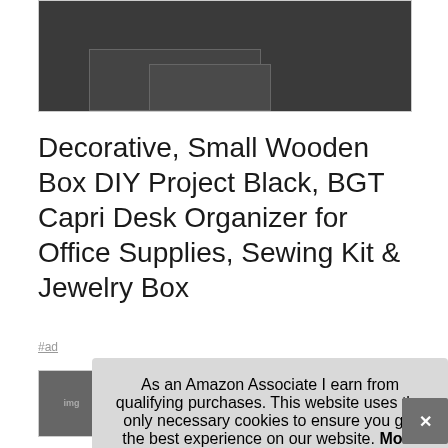[Figure (photo): Dark grey/charcoal wooden box product image on dark background, partially cropped at top of page]
Decorative, Small Wooden Box DIY Project Black, BGT Capri Desk Organizer for Office Supplies, Sewing Kit & Jewelry Box
#ad
[Figure (photo): Small product thumbnail showing wooden desk organizer]
As an Amazon Associate I earn from qualifying purchases. This website uses the only necessary cookies to ensure you get the best experience on our website. More information